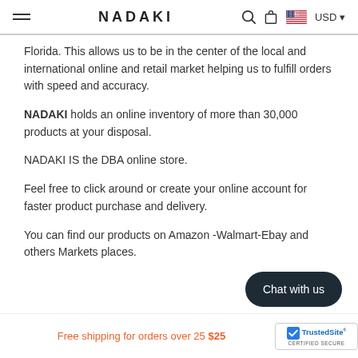NADAKI  USD
Florida. This allows us to be in the center of the local and international online and retail market helping us to fulfill orders with speed and accuracy.
NADAKI holds an online inventory of more than 30,000 products at your disposal.
NADAKI IS the DBA online store.
Feel free to click around or create your online account for faster product purchase and delivery.
You can find our products on Amazon -Walmart-Ebay and others Markets places.
[Figure (other): Dark rounded button labeled 'Chat with us']
Free shipping for orders over 25 $25  TrustedSite CERTIFIED SECURE